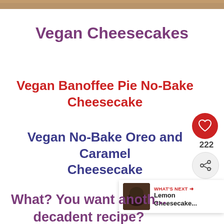[Figure (photo): Narrow decorative image strip at top of page, appears to be a food photo cropped to a thin bar]
Vegan Cheesecakes
Vegan Banoffee Pie No-Bake Cheesecake
Vegan No-Bake Oreo and Caramel Cheesecake
[Figure (infographic): Heart/like button icon (red circle with white heart) showing count 222, and a share button below]
What? You want anoth... decadent recipe?
[Figure (photo): What's Next widget showing a small thumbnail of Lemon Cheesecake with label WHAT'S NEXT and title Lemon Cheesecake...]